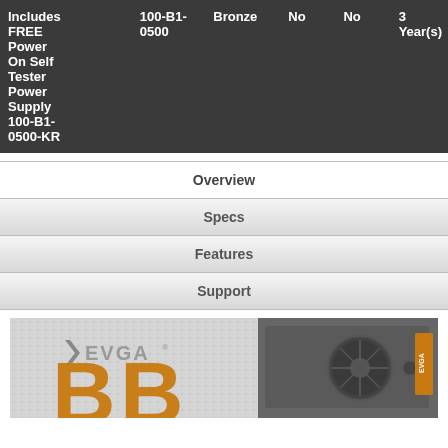| Includes FREE Power On Self Tester Power Supply 100-B1-0500-KR | 100-B1-0500 | Bronze | No | No | 3 Year(s) |
Overview
Specs
Features
Support
[Figure (photo): EVGA B1 series power supply product image with EVGA logo on left and PSU unit on right]